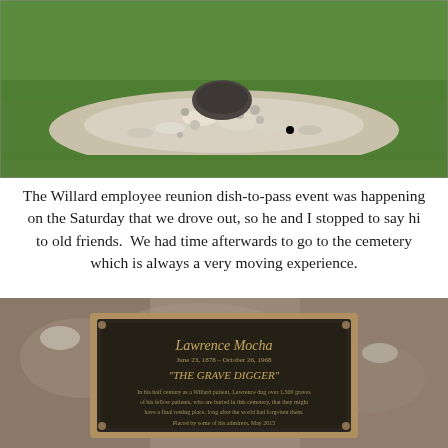[Figure (photo): Photograph of a grave mound with small rocks and white gravel on green grass]
The Willard employee reunion dish-to-pass event was happening on the Saturday that we drove out, so he and I stopped to say hi to old friends.  We had time afterwards to go to the cemetery which is always a very moving experience.
[Figure (photo): Photograph of a bronze memorial plaque mounted on a rock that reads: Lawrence Mocha, June 23, 1878 - October 26, 1968, 'THE GRAVE DIGGER', In his half century as a Willard patient, Lawrence dug over 1,500 graves of his fellow patients, who are buried in this cemetery, that they might have a final resting place, long after the world had forgotten them. Placed by some of his admirers, May 2015]